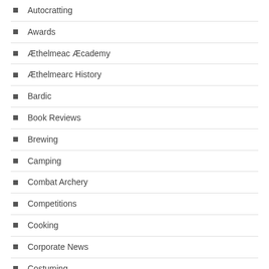Autocratting
Awards
Æthelmeac Æcademy
Æthelmearc History
Bardic
Book Reviews
Brewing
Camping
Combat Archery
Competitions
Cooking
Corporate News
Costuming
Court Reports